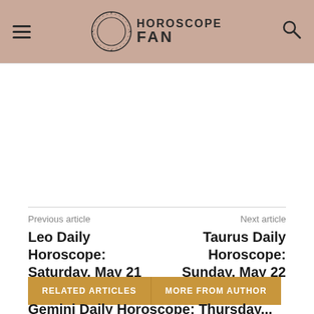HOROSCOPE FAN
[Figure (other): Advertisement space, blank white rectangle]
Previous article
Leo Daily Horoscope: Saturday, May 21
Next article
Taurus Daily Horoscope: Sunday, May 22
RELATED ARTICLES   MORE FROM AUTHOR
Gemini Daily Horoscope: Thursday...